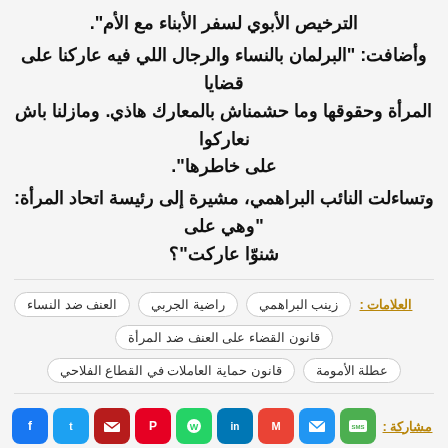الترخيص الأبوي لسفر الأبناء مع الأم".
وأضافت: "البرلمان بالنساء والرجال اللي فيه عاركنا على قضايا المرأة وحقوقها وما حشمناش بالمعارك هاذي. ومازلنا باش نعاركوا على خاطرها".
وتساءلت النائب البراهمي، مشيرة إلى رئيسة اتحاد المرأة: "وهي على شنوّا عاركت"؟
العلامات : زينب البراهمي | راضية الجربي | العنف ضد النساء | قانون القضاء على العنف ضد المرأة | قانون حماية العاملات في القطاع الفلاحي | عطلة الأمومة
مشاركة : [SMS] [email] [Gmail] [LinkedIn] [WhatsApp] [Pinterest] [Mail] [Twitter] [Facebook]